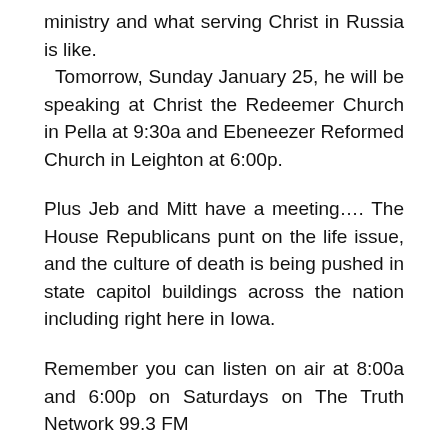ministry and what serving Christ in Russia is like. Tomorrow, Sunday January 25, he will be speaking at Christ the Redeemer Church in Pella at 9:30a and Ebeneezer Reformed Church in Leighton at 6:00p.
Plus Jeb and Mitt have a meeting.... The House Republicans punt on the life issue, and the culture of death is being pushed in state capitol buildings across the nation including right here in Iowa.
Remember you can listen on air at 8:00a and 6:00p on Saturdays on The Truth Network 99.3 FM